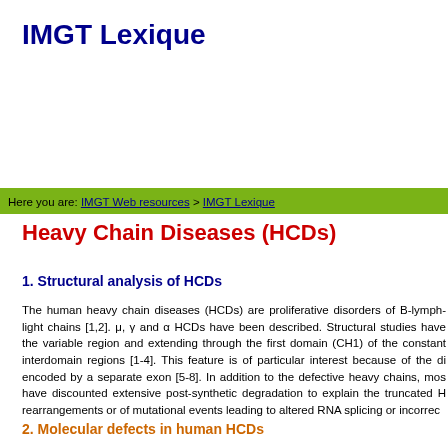IMGT Lexique
Here you are: IMGT Web resources > IMGT Lexique
Heavy Chain Diseases (HCDs)
1. Structural analysis of HCDs
The human heavy chain diseases (HCDs) are proliferative disorders of B-lymph- light chains [1,2]. μ, γ and α HCDs have been described. Structural studies have the variable region and extending through the first domain (CH1) of the constant interdomain regions [1-4]. This feature is of particular interest because of the di encoded by a separate exon [5-8]. In addition to the defective heavy chains, mos have discounted extensive post-synthetic degradation to explain the truncated H rearrangements or of mutational events leading to altered RNA splicing or incorrec
2. Molecular defects in human HCDs